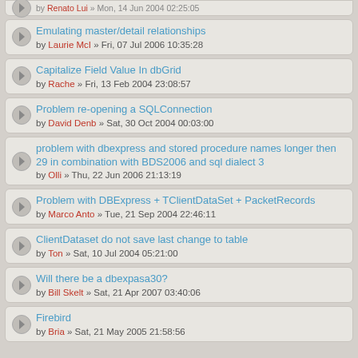Emulating master/detail relationships by Laurie McI » Fri, 07 Jul 2006 10:35:28
Capitalize Field Value In dbGrid by Rache » Fri, 13 Feb 2004 23:08:57
Problem re-opening a SQLConnection by David Denb » Sat, 30 Oct 2004 00:03:00
problem with dbexpress and stored procedure names longer then 29 in combination with BDS2006 and sql dialect 3 by Olli » Thu, 22 Jun 2006 21:13:19
Problem with DBExpress + TClientDataSet + PacketRecords by Marco Anto » Tue, 21 Sep 2004 22:46:11
ClientDataset do not save last change to table by Ton » Sat, 10 Jul 2004 05:21:00
Will there be a dbexpasa30? by Bill Skelt » Sat, 21 Apr 2007 03:40:06
Firebird by Bria » Sat, 21 May 2005 21:58:56